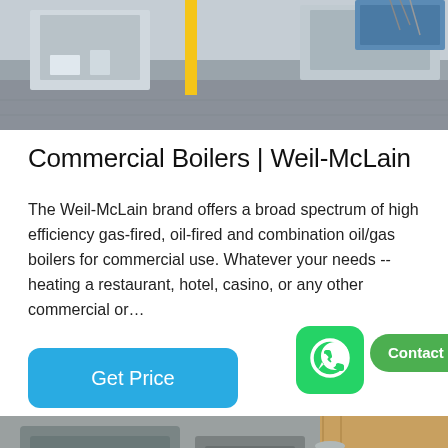[Figure (photo): Industrial machinery/equipment on a factory floor, showing laser cutting or CNC machines with yellow safety posts and blue equipment in the background.]
Commercial Boilers | Weil-McLain
The Weil-McLain brand offers a broad spectrum of high efficiency gas-fired, oil-fired and combination oil/gas boilers for commercial use. Whatever your needs --heating a restaurant, hotel, casino, or any other commercial or…
[Figure (other): Blue rounded rectangle button labeled 'Get Price']
[Figure (other): WhatsApp icon (green rounded square with white phone handset) and green speech bubble with text 'Contact us now!']
[Figure (photo): Industrial boiler equipment with FANGKUAI branding, showing grey boiler units, cylindrical components, and a wooden panel background.]